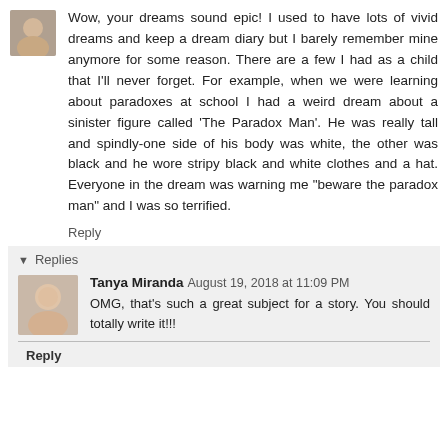Wow, your dreams sound epic! I used to have lots of vivid dreams and keep a dream diary but I barely remember mine anymore for some reason. There are a few I had as a child that I'll never forget. For example, when we were learning about paradoxes at school I had a weird dream about a sinister figure called 'The Paradox Man'. He was really tall and spindly-one side of his body was white, the other was black and he wore stripy black and white clothes and a hat. Everyone in the dream was warning me "beware the paradox man" and I was so terrified.
Reply
▾ Replies
Tanya Miranda    August 19, 2018 at 11:09 PM
OMG, that's such a great subject for a story. You should totally write it!!!
Reply